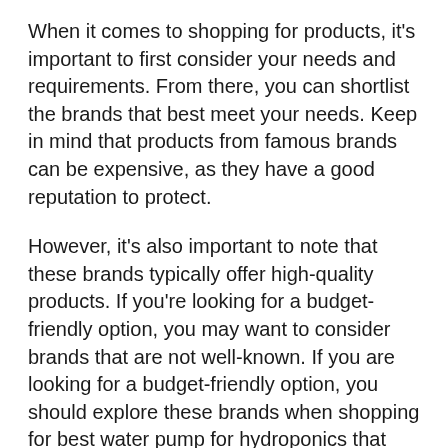When it comes to shopping for products, it's important to first consider your needs and requirements. From there, you can shortlist the brands that best meet your needs. Keep in mind that products from famous brands can be expensive, as they have a good reputation to protect.
However, it's also important to note that these brands typically offer high-quality products. If you're looking for a budget-friendly option, you may want to consider brands that are not well-known. If you are looking for a budget-friendly option, you should explore these brands when shopping for best water pump for hydroponics that meets your needs.